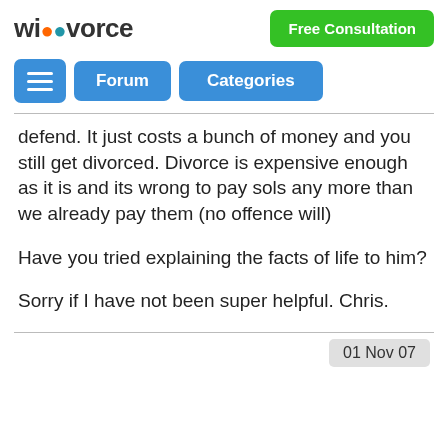wikivorce | Free Consultation
[Figure (screenshot): Navigation bar with hamburger menu, Forum button, and Categories button]
defend. It just costs a bunch of money and you still get divorced. Divorce is expensive enough as it is and its wrong to pay sols any more than we already pay them (no offence will)
Have you tried explaining the facts of life to him?
Sorry if I have not been super helpful. Chris.
01 Nov 07